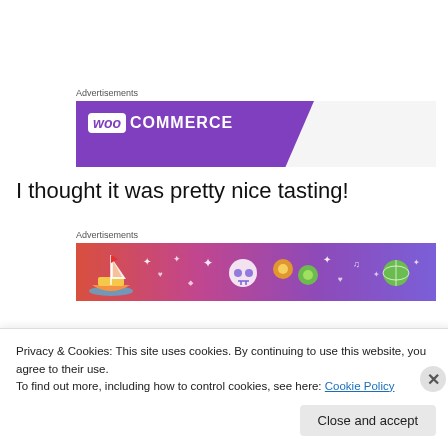Advertisements
[Figure (logo): WooCommerce logo banner — purple diagonal banner with white WooCommerce logo on light grey background]
I thought it was pretty nice tasting!
Advertisements
[Figure (illustration): Colorful gradient banner (red to purple) with doodle-style illustrations: sailboat with flag, skull, flowers, sparkles, leaves, music notes]
Privacy & Cookies: This site uses cookies. By continuing to use this website, you agree to their use.
To find out more, including how to control cookies, see here: Cookie Policy
Close and accept